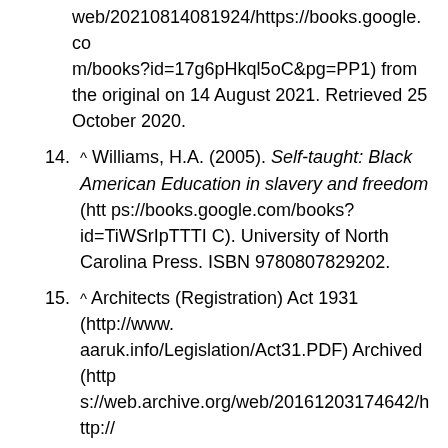web/20210814081924/https://books.google.com/books?id=17g6pHkql5oC&pg=PP1) from the original on 14 August 2021. Retrieved 25 October 2020.
14. ^ Williams, H.A. (2005). Self-taught: Black American Education in slavery and freedom (https://books.google.com/books?id=TiWSrIpTTTIC). University of North Carolina Press. ISBN 9780807829202.
15. ^ Architects (Registration) Act 1931 (http://www.aaruk.info/Legislation/Act31.PDF) Archived (https://web.archive.org/web/20161203174642/http://www.aaruk.info/Legislation/Act31.PDF) 3 December 2016 at the Wayback Machine (UK)
16. ^ Loi n°77-2 du 3 janvier 1977 sur l'architecture (http://www.legifrance.gouv.fr/affichTexte.do;jsessionid=606CAD25CBEA6D17169D0D5D82D5C464.tpdjo14v_1?cidTexte=JORFTEXT00000052